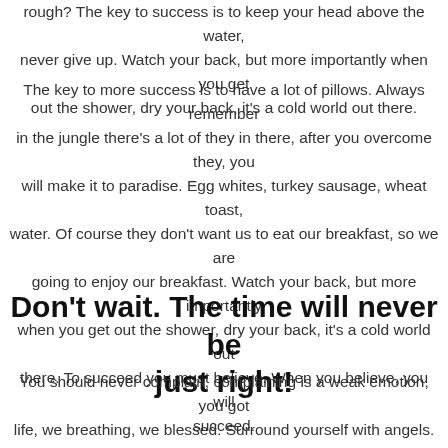rough? The key to success is to keep your head above the water, never give up. Watch your back, but more importantly when you get out the shower, dry your back, it's a cold world out there.
The key to more success is to have a lot of pillows. Always remember in the jungle there's a lot of they in there, after you overcome they, you will make it to paradise. Egg whites, turkey sausage, wheat toast, water. Of course they don't want us to eat our breakfast, so we are going to enjoy our breakfast. Watch your back, but more importantly when you get out the shower, dry your back, it's a cold world out there. To succeed you must believe. When you believe, you will succeed.
Don't wait. The time will never be just right!
You should never complain, complaining is a weak emotion, you got life, we breathing, we blessed. Surround yourself with angels. They never said winning was easy. Some people can't handle success, I can. Look at the sunset, life is amazing, life is beautiful, life is what